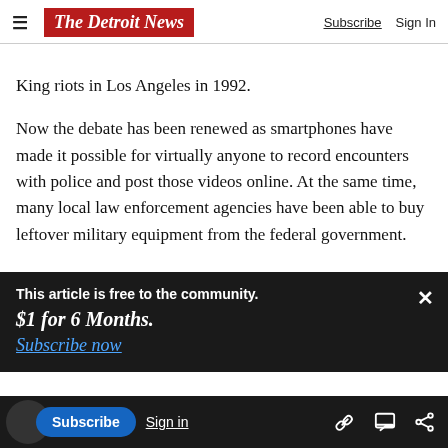The Detroit News — Subscribe | Sign In
King riots in Los Angeles in 1992.
Now the debate has been renewed as smartphones have made it possible for virtually anyone to record encounters with police and post those videos online. At the same time, many local law enforcement agencies have been able to buy leftover military equipment from the federal government.
This article is free to the community. $1 for 6 Months. Subscribe now
and protest organizers are key: Are demonstrators
work together to plot out a good route? Or are